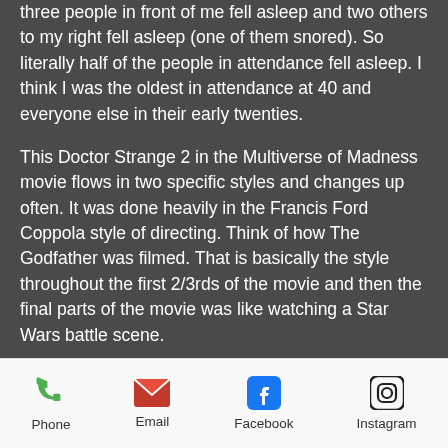three people in front of me fell asleep and two others to my right fell asleep (one of them snored). So literally half of the people in attendance fell asleep. I think I was the oldest in attendance at 40 and everyone else in their early twenties.
This Doctor Strange 2 in the Multiverse of Madness movie flows in two specific styles and changes up often. It was done heavily in the Francis Ford Coppola style of directing. Think of how The Godfather was filmed. That is basically the style throughout the first 2/3rds of the movie and then the final parts of the movie was like watching a Star Wars battle scene.
The music was all over the place and the
Phone  Email  Facebook  Instagram